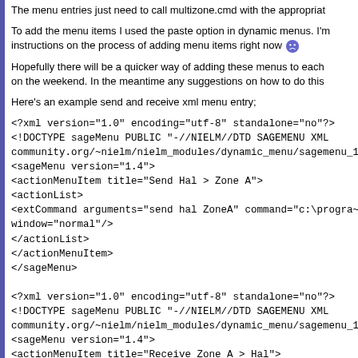The menu entries just need to call multizone.cmd with the appropriate
To add the menu items I used the paste option in dynamic menus. I'm instructions on the process of adding menu items right now 😞
Hopefully there will be a quicker way of adding these menus to each on the weekend. In the meantime any suggestions on how to do this
Here's an example send and receive xml menu entry;
<?xml version="1.0" encoding="utf-8" standalone="no"?>
<!DOCTYPE sageMenu PUBLIC "-//NIELM//DTD SAGEMENU XML community.org/~nielm/nielm_modules/dynamic_menu/sagemenu_1_
<sageMenu version="1.4">
<actionMenuItem title="Send Hal > Zone A">
<actionList>
<extCommand arguments="send hal ZoneA" command="c:\progra~1 window="normal"/>
</actionList>
</actionMenuItem>
</sageMenu>
<?xml version="1.0" encoding="utf-8" standalone="no"?>
<!DOCTYPE sageMenu PUBLIC "-//NIELM//DTD SAGEMENU XML community.org/~nielm/nielm_modules/dynamic_menu/sagemenu_1_
<sageMenu version="1.4">
<actionMenuItem title="Receive Zone A > Hal">